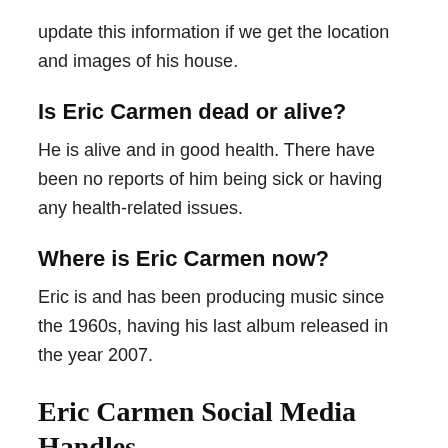update this information if we get the location and images of his house.
Is Eric Carmen dead or alive?
He is alive and in good health. There have been no reports of him being sick or having any health-related issues.
Where is Eric Carmen now?
Eric is and has been producing music since the 1960s, having his last album released in the year 2007.
Eric Carmen Social Media Handles